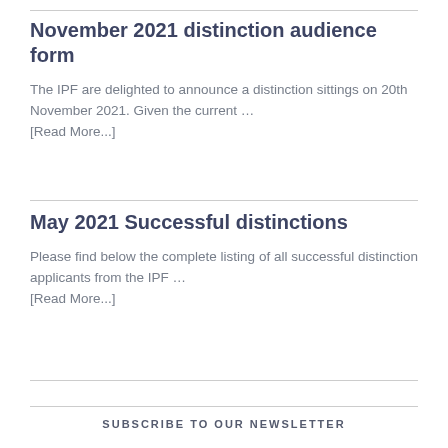November 2021 distinction audience form
The IPF are delighted to announce a distinction sittings on 20th November 2021. Given the current … [Read More...]
May 2021 Successful distinctions
Please find below the complete listing of all successful distinction applicants from the IPF … [Read More...]
SUBSCRIBE TO OUR NEWSLETTER